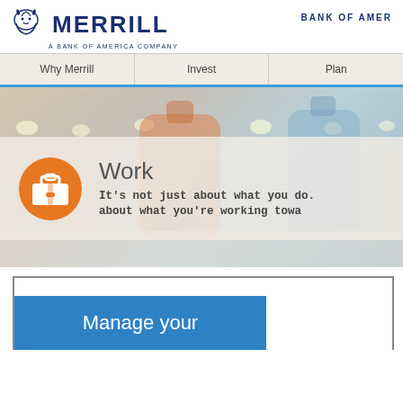[Figure (logo): Merrill Lynch logo with bull icon and text 'MERRILL A BANK OF AMERICA COMPANY']
BANK OF AMER
[Figure (screenshot): Navigation bar with items: Why Merrill, Invest, Plan]
[Figure (photo): Hero image with blurred bottles/jars in background, overlay panel with orange briefcase icon and text: Work - It's not just about what you do. about what you're working towa]
Manage your